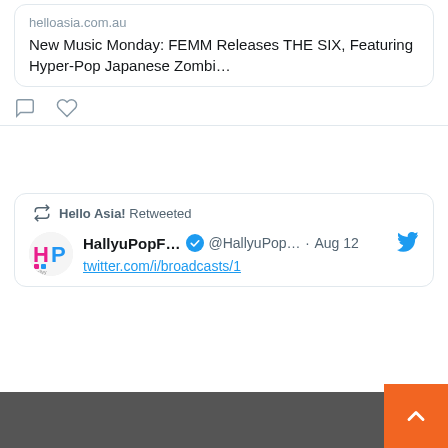[Figure (screenshot): Tweet card showing a linked article from helloasia.com.au titled 'New Music Monday: FEMM Releases THE SIX, Featuring Hyper-Pop Japanese Zombi...' with comment and like action icons below]
[Figure (screenshot): Retweet section: 'Hello Asia! Retweeted' header with HallyuPopF... @HallyuPop... · Aug 12 tweet row showing avatar logo, verified badge, twitter bird icon, and a truncated link twitter.com/i/broadcasts/1]